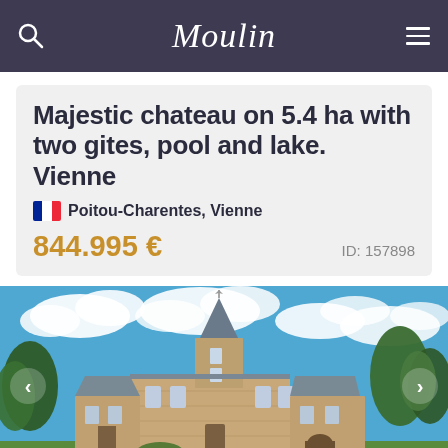Moulin
Majestic chateau on 5.4 ha with two gites, pool and lake. Vienne
Poitou-Charentes, Vienne
844.995 €   ID: 157898
[Figure (photo): Photograph of a majestic French chateau with a pointed turret, stone facade, multiple windows, set in green grounds against a blue sky with clouds. Navigation arrows visible on left and right sides.]